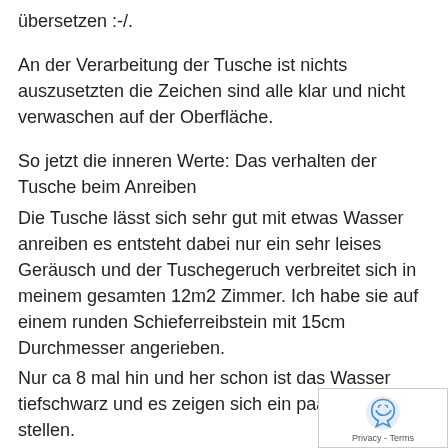übersetzen :-/.
An der Verarbeitung der Tusche ist nichts auszusetzten die Zeichen sind alle klar und nicht verwaschen auf der Oberfläche.
So jetzt die inneren Werte: Das verhalten der Tusche beim Anreiben
Die Tusche lässt sich sehr gut mit etwas Wasser anreiben es entsteht dabei nur ein sehr leises Geräusch und der Tuschegeruch verbreitet sich in meinem gesamten 12m2 Zimmer. Ich habe sie auf einem runden Schieferreibstein mit 15cm Durchmesser angerieben.
Nur ca 8 mal hin und her schon ist das Wasser tiefschwarz und es zeigen sich ein paar trockene stellen.
Also so schnell habe ich noch nie die intensive Tuschefarbe erreicht.